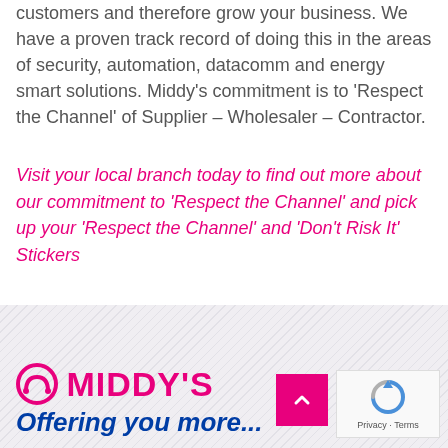customers and therefore grow your business. We have a proven track record of doing this in the areas of security, automation, datacomm and energy smart solutions. Middy's commitment is to 'Respect the Channel' of Supplier – Wholesaler – Contractor.
Visit your local branch today to find out more about our commitment to 'Respect the Channel' and pick up your 'Respect the Channel' and 'Don't Risk It' Stickers
[Figure (logo): Middy's logo with omega symbol icon, bold pink text 'MIDDY'S' and blue italic tagline 'Offering you more...']